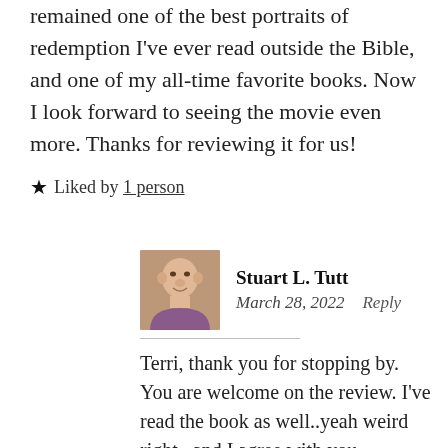remained one of the best portraits of redemption I've ever read outside the Bible, and one of my all-time favorite books. Now I look forward to seeing the movie even more. Thanks for reviewing it for us!
★ Liked by 1 person
Stuart L. Tutt
March 28, 2022   Reply
Terri, thank you for stopping by. You are welcome on the review. I've read the book as well..yeah weird right...and I agree with you wholeheartedly!